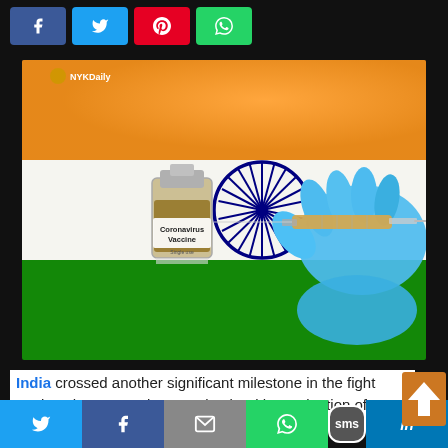[Figure (other): Top social share buttons: Facebook (blue), Twitter (light blue), Pinterest (red), WhatsApp (green)]
[Figure (photo): Photograph of India's national flag (saffron, white, green with Ashoka Chakra) with a Coronavirus Vaccine vial and a gloved hand holding a syringe in the foreground. NYKDaily watermark top-left.]
India crossed another significant milestone in the fight against the coronavirus pandemic with vaccination of over
[Figure (other): Bottom share bar with Twitter, Facebook, Email, WhatsApp, SMS, LinkedIn icons]